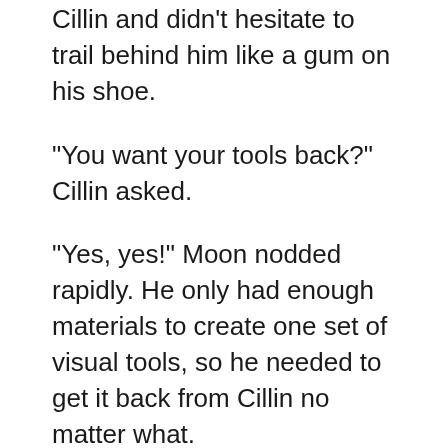Cillin and didn't hesitate to trail behind him like a gum on his shoe.
“You want your tools back?” Cillin asked.
“Yes, yes!” Moon nodded rapidly. He only had enough materials to create one set of visual tools, so he needed to get it back from Cillin no matter what.
“Come.” Cillin beckoned the Origin robot to follow him while walking into a nearby lounge.
After Cillin set the tools on the table, Moon seized it with lightning speed and clutched it against his chest. Every one of his gestures